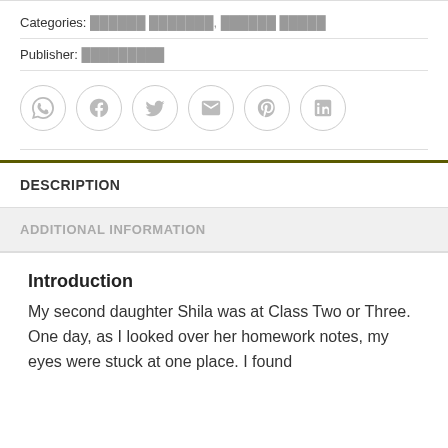Categories: ████████ ████████, ████████ █████
Publisher: █████████
[Figure (infographic): Six social sharing icon buttons in circles: WhatsApp, Facebook, Twitter, Email, Pinterest, LinkedIn]
DESCRIPTION
ADDITIONAL INFORMATION
Introduction
My second daughter Shila was at Class Two or Three. One day, as I looked over her homework notes, my eyes were stuck at one place. I found